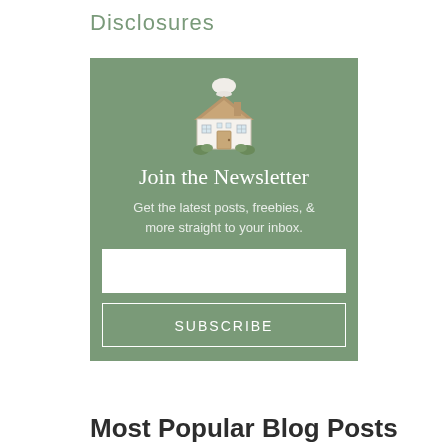Disclosures
[Figure (illustration): Illustrated house with a chef's hat on top, white and grey house with brown roof, surrounded by green bushes]
Join the Newsletter
Get the latest posts, freebies, & more straight to your inbox.
Most Popular Blog Posts